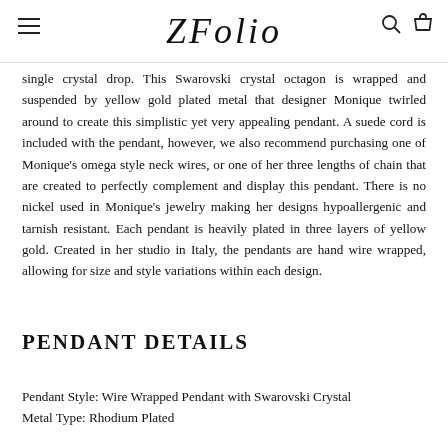ZFolio
single crystal drop. This Swarovski crystal octagon is wrapped and suspended by yellow gold plated metal that designer Monique twirled around to create this simplistic yet very appealing pendant. A suede cord is included with the pendant, however, we also recommend purchasing one of Monique’s omega style neck wires, or one of her three lengths of chain that are created to perfectly complement and display this pendant. There is no nickel used in Monique's jewelry making her designs hypoallergenic and tarnish resistant. Each pendant is heavily plated in three layers of yellow gold. Created in her studio in Italy, the pendants are hand wire wrapped, allowing for size and style variations within each design.
PENDANT DETAILS
Pendant Style: Wire Wrapped Pendant with Swarovski Crystal
Metal Type: Rhodium Plated